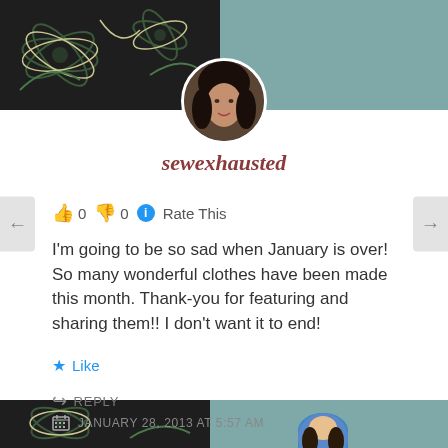[Figure (photo): Top decorative banner with dark floral pattern on left half and teal background on right, profile avatar photo of a woman with dark hair centered at bottom of banner]
sewexhausted
👍 0 👎 0 ℹ Rate This
I'm going to be so sad when January is over! So many wonderful clothes have been made this month. Thank-you for featuring and sharing them!! I don't want it to end!
★ Like
↪ REPLY
🗓 JANUARY 28, 2013 AT 5:57 AM
[Figure (photo): Bottom decorative banner with dark floral pattern on left portion and teal background on right, partial view of another profile avatar at bottom right]